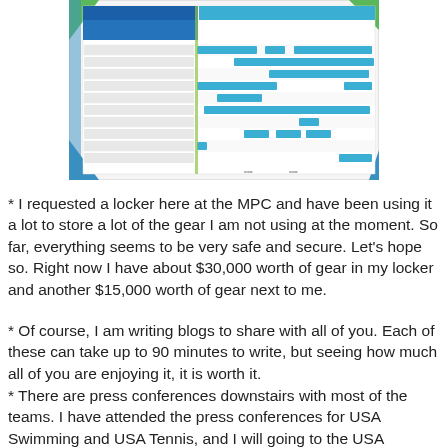[Figure (screenshot): Screenshot of an Olympics schedule or event calendar page with colored blocks (blue, green, dark blue) showing event timeslots across multiple sports/rows.]
* I requested a locker here at the MPC and have been using it a lot to store a lot of the gear I am not using at the moment. So far, everything seems to be very safe and secure. Let's hope so. Right now I have about $30,000 worth of gear in my locker and another $15,000 worth of gear next to me.
* Of course, I am writing blogs to share with all of you. Each of these can take up to 90 minutes to write, but seeing how much all of you are enjoying it, it is worth it.
* There are press conferences downstairs with most of the teams. I have attended the press conferences for USA Swimming and USA Tennis, and I will going to the USA Basketball press conference in 45 minutes. That should be crowded! I will blog that later this afternoon. Tomorrow I will